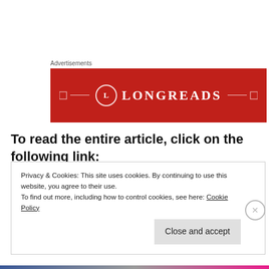Advertisements
[Figure (logo): LONGREADS banner advertisement on red background with circular L logo and decorative corner brackets]
To read the entire article, click on the following link:
The Nonsense of Plastic Straw Laws!    Download
Privacy & Cookies: This site uses cookies. By continuing to use this website, you agree to their use.
To find out more, including how to control cookies, see here: Cookie Policy
Close and accept